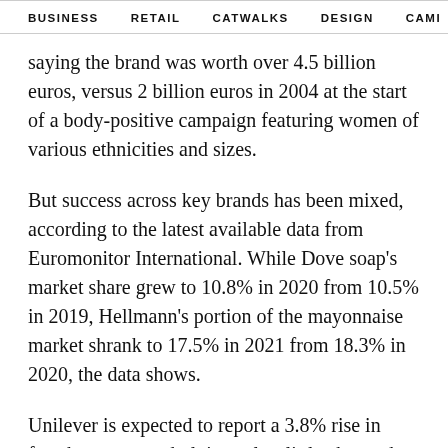BUSINESS   RETAIL   CATWALKS   DESIGN   CAMI >
saying the brand was worth over 4.5 billion euros, versus 2 billion euros in 2004 at the start of a body-positive campaign featuring women of various ethnicities and sizes.
But success across key brands has been mixed, according to the latest available data from Euromonitor International. While Dove soap's market share grew to 10.8% in 2020 from 10.5% in 2019, Hellmann's portion of the mayonnaise market shrank to 17.5% in 2021 from 18.3% in 2020, the data shows.
Unilever is expected to report a 3.8% rise in fourth-quarter underlying sales, little changed on growth a year